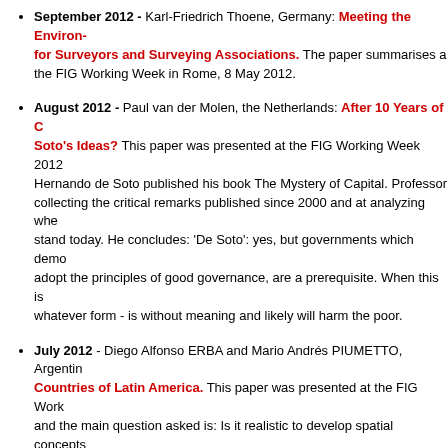September 2012 - Karl-Friedrich Thoene, Germany: Meeting the Environmental Challenges for Surveyors and Surveying Associations. The paper summarises a presentation at the FIG Working Week in Rome, 8 May 2012.
August 2012 - Paul van der Molen, the Netherlands: After 10 Years of Challenges to de Soto's Ideas? This paper was presented at the FIG Working Week 2012 ... Hernando de Soto published his book The Mystery of Capital. Professor ... collecting the critical remarks published since 2000 and at analyzing whe... stand today. He concludes: 'De Soto': yes, but governments which demo... adopt the principles of good governance, are a prerequisite. When this is... whatever form - is without meaning and likely will harm the poor.
July 2012 - Diego Alfonso ERBA and Mario Andrés PIUMETTO, Argentina: Countries of Latin America. This paper was presented at the FIG Work... and the main question asked is: Is it realistic to develop spatial concepts ... objects and to propose a 3D cadastral model in the federal countries of L... conclusion indicates that this is the right time to start thinking about it, co... systematizing the 2D definitions as a first step. Latin America occupies ap... land surface and therefore a focus on this continent is appropriate. The m... will therefore take place in Uruguay, 26-29 November 2012, with emphas... region.